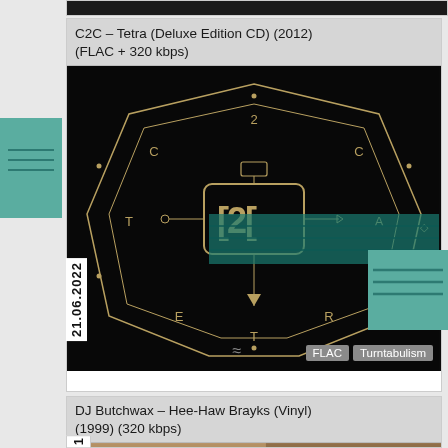[Figure (other): Top portion of a dark previous card (partially visible)]
C2C – Tetra (Deluxe Edition CD) (2012) (FLAC + 320 kbps)
[Figure (illustration): C2C Tetra album cover — dark background with geometric octagon and stylized C2C logo in gold/tan lines, letters C, 2, C, T, E, T, R, A arranged around the design]
DJ Butchwax – Hee-Haw Brayks (Vinyl) (1999) (320 kbps)
[Figure (photo): Sepia-toned photo of a person laughing next to a horse]